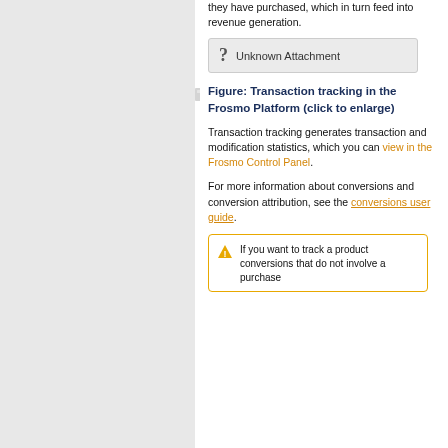they have purchased, which in turn feed into revenue generation.
[Figure (other): Unknown Attachment placeholder icon with question mark]
Figure: Transaction tracking in the Frosmo Platform (click to enlarge)
Transaction tracking generates transaction and modification statistics, which you can view in the Frosmo Control Panel.
For more information about conversions and conversion attribution, see the conversions user guide.
If you want to track a product conversions that do not involve a purchase